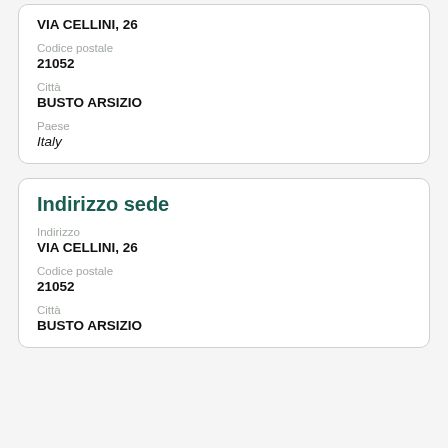VIA CELLINI, 26
Codice postale
21052
Città
BUSTO ARSIZIO
Paese
Italy
Indirizzo sede
Indirizzo
VIA CELLINI, 26
Codice postale
21052
Città
BUSTO ARSIZIO